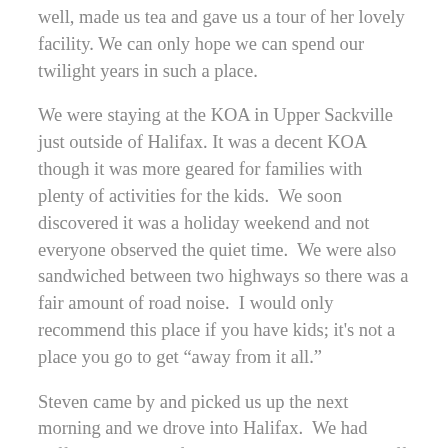well, made us tea and gave us a tour of her lovely facility. We can only hope we can spend our twilight years in such a place.
We were staying at the KOA in Upper Sackville just outside of Halifax. It was a decent KOA though it was more geared for families with plenty of activities for the kids.  We soon discovered it was a holiday weekend and not everyone observed the quiet time.  We were also sandwiched between two highways so there was a fair amount of road noise.  I would only recommend this place if you have kids; it's not a place you go to get “away from it all.”
Steven came by and picked us up the next morning and we drove into Halifax.  We had coffee and chatted for a while.  He dropped us off at the waterfront which was pretty crowded.